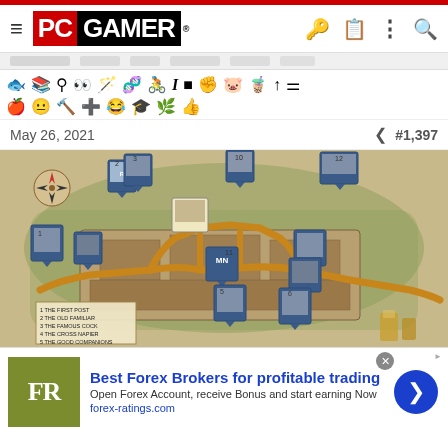PC GAMER
[Figure (screenshot): PC Gamer website header with logo, hamburger menu, and navigation icons (key, clipboard, more, search)]
[Figure (infographic): Toolbar row of game-related icons: fish, book, gemini, eye-with-hand, wand, crouching figure, rider, cursor, portrait, hand, wings, claw, up-arrow, stand; second row: apple/shield, face, hammer, cross/medkit, smiley, hat-figure, plant, thumbs-up]
May 26, 2021
#1,397
[Figure (map): Fantasy/game map showing a medieval campus or village layout with numbered locations, paths highlighted in orange/gold, compass rose, blue card-style location markers with illustrated figures, and a legend listing: 1 THE FIRST POST, 2 THE OLD FAMILIAR, 3 THE FAMOUS COCK, 4 THE CROSS NAPIER, 5 THE GOOD COMPANIONS, 6 THE TRUSTY SERVANT]
[Figure (screenshot): Advertisement banner: FR logo on olive/green background. Text: Best Forex Brokers for profitable trading. Open Forex Account, receive Bonus and start earning Now. forex-ratings.com. Blue circular arrow button on right.]